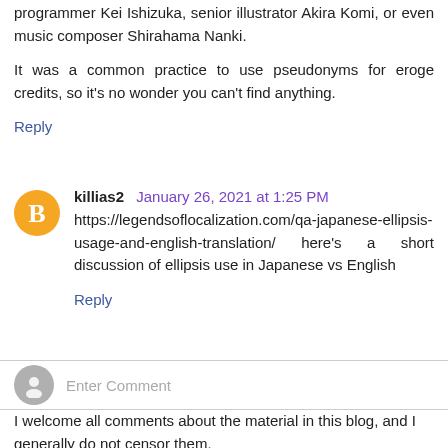programmer Kei Ishizuka, senior illustrator Akira Komi, or even music composer Shirahama Nanki.
It was a common practice to use pseudonyms for eroge credits, so it's no wonder you can't find anything.
Reply
killias2  January 26, 2021 at 1:25 PM
https://legendsoflocalization.com/qa-japanese-ellipsis-usage-and-english-translation/ here's a short discussion of ellipsis use in Japanese vs English
Reply
Enter Comment
I welcome all comments about the material in this blog, and I generally do not censor them.
However, please follow these rules: